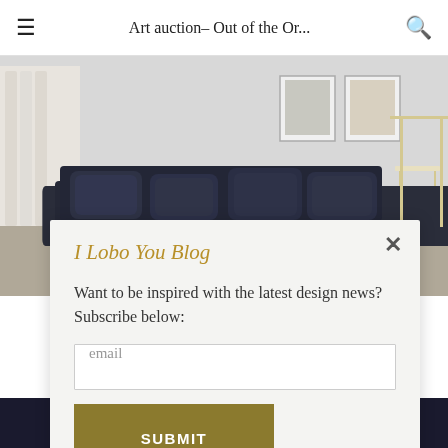Art auction- Out of the Or...
[Figure (photo): Interior design photo showing a dark navy/black velvet sofa with multiple cushions, set in a bright modern living room with white walls, curtains, and a decorative side table]
I Lobo You Blog
Want to be inspired with the latest design news? Subscribe below:
email
SUBMIT
IMPACTFUL MINDS